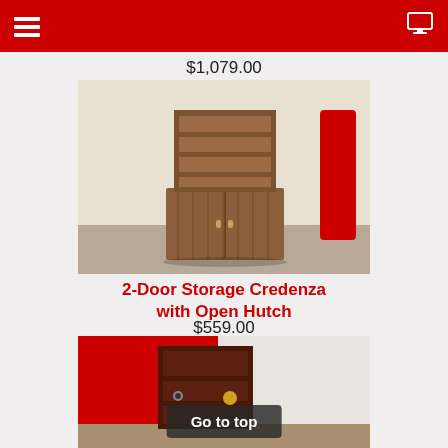$1,079.00
[Figure (photo): Photo of a 2-door storage credenza with open hutch (bookcase top with shelves, cabinet bottom with two doors), walnut wood finish, in a room with beige carpet and a red cylindrical object in background.]
2-Door Storage Credenza with Open Hutch
$559.00
[Figure (photo): Photo of a dark cherry wood bookcase/storage unit against a red and white wall, with a 'Go to top' button overlay.]
Go to top